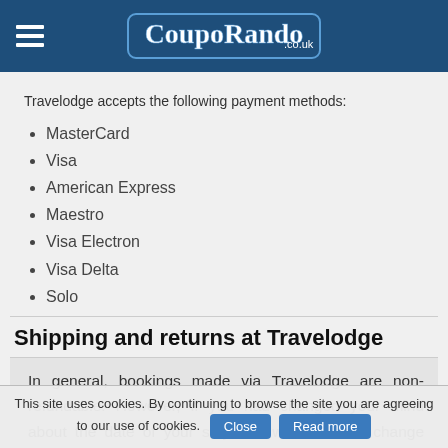CoupoRando.co.uk
Travelodge accepts the following payment methods:
MasterCard
Visa
American Express
Maestro
Visa Electron
Visa Delta
Solo
Shipping and returns at Travelodge
In general, bookings made via Travelodge are non-refundable. However, if you had changed your mind about the date of your stay and would like to change some details, there are a few options. You can always choose a flexible rate booking that allows you to change the details
This site uses cookies. By continuing to browse the site you are agreeing to our use of cookies. Close Read more